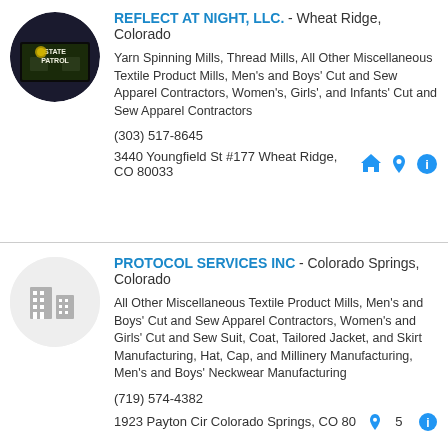[Figure (photo): Circular thumbnail image showing a State Patrol vehicle at night with reflective elements]
REFLECT AT NIGHT, LLC. - Wheat Ridge, Colorado

Yarn Spinning Mills, Thread Mills, All Other Miscellaneous Textile Product Mills, Men's and Boys' Cut and Sew Apparel Contractors, Women's, Girls', and Infants' Cut and Sew Apparel Contractors

(303) 517-8645

3440 Youngfield St #177 Wheat Ridge, CO 80033
[Figure (illustration): Circular placeholder icon with building/office silhouette in gray]
PROTOCOL SERVICES INC - Colorado Springs, Colorado

All Other Miscellaneous Textile Product Mills, Men's and Boys' Cut and Sew Apparel Contractors, Women's and Girls' Cut and Sew Suit, Coat, Tailored Jacket, and Skirt Manufacturing, Hat, Cap, and Millinery Manufacturing, Men's and Boys' Neckwear Manufacturing

(719) 574-4382

1923 Payton Cir Colorado Springs, CO 80905